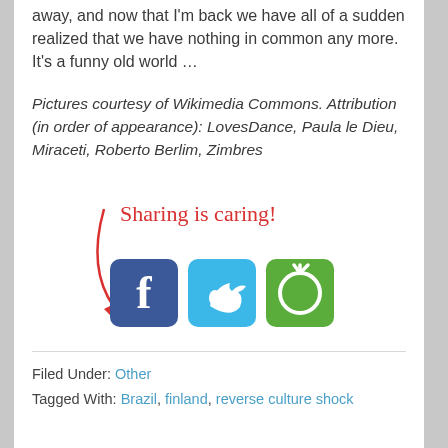away, and now that I'm back we have all of a sudden realized that we have nothing in common any more. It's a funny old world …
Pictures courtesy of Wikimedia Commons. Attribution (in order of appearance): LovesDance, Paula le Dieu, Miraceti, Roberto Berlim, Zimbres
[Figure (infographic): Sharing is caring! text in red handwriting with arrow pointing to Facebook, Twitter, and a green share/save button icons]
Filed Under: Other
Tagged With: Brazil, finland, reverse culture shock